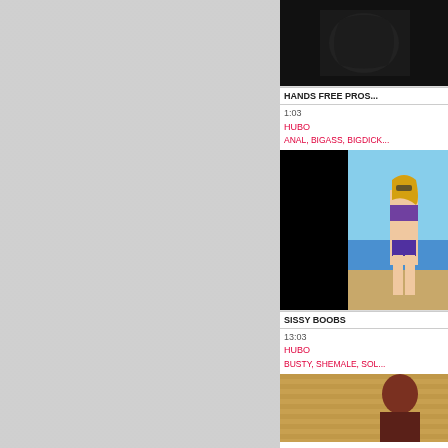[Figure (photo): Dark/black background video thumbnail for 'Hands Free Pros...' video]
HANDS FREE PROS...
1:03
HUBO
ANAL, BIGASS, BIGDICK...
[Figure (photo): Beach scene with woman in bikini, half black half beach photo, for 'Sissy Boobs' video]
SISSY BOOBS
13:03
HUBO
BUSTY, SHEMALE, SOL...
[Figure (photo): Partial thumbnail of a third video, tan/orange background with person visible at top]